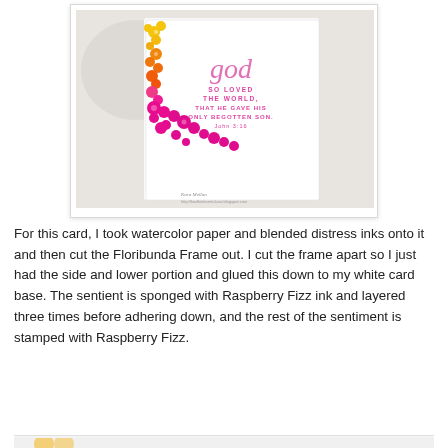[Figure (photo): A handmade greeting card with a floral die-cut frame (Floribunda Frame) in an ombre gradient from yellow to orange to hot pink along the left side and bottom. The card has a white base with a scripture verse reading 'God so loved the world, that he gave his only begotten son. John 3:16' stamped in pink. The card is photographed against a background with pearl beads. A watermark reads 'Kara Mellon' and a blog URL.]
For this card, I took watercolor paper and blended distress inks onto it and then cut the Floribunda Frame out. I cut the frame apart so I just had the side and lower portion and glued this down to my white card base. The sentient is sponged with Raspberry Fizz ink and layered three times before adhering down, and the rest of the sentiment is stamped with Raspberry Fizz.